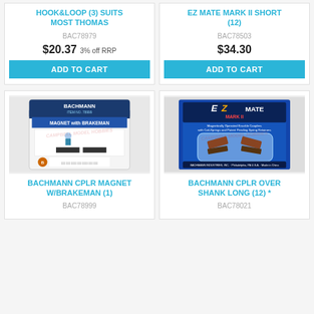HOOK&LOOP (3) SUITS MOST THOMAS
BAC78979
$20.37 3% off RRP
ADD TO CART
EZ MATE MARK II SHORT (12)
BAC78503
$34.30
ADD TO CART
[Figure (photo): Bachmann coupler magnet with brakeman product in retail packaging]
BACHMANN CPLR MAGNET W/BRAKEMAN (1)
BAC78999
[Figure (photo): Bachmann EZ Mate Mark II over shank long couplers product in blue retail packaging]
BACHMANN CPLR OVER SHANK LONG (12) *
BAC78021